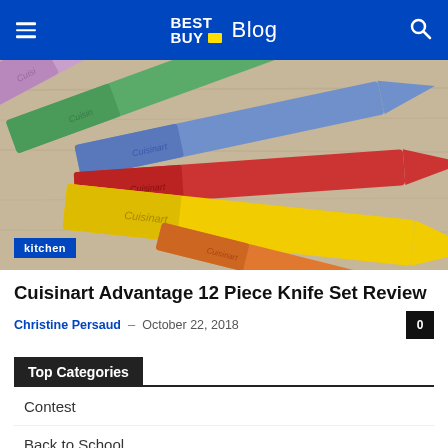Best Buy Blog
[Figure (photo): Colorful Cuisinart knife set with multiple knives in purple, green, blue, red, yellow, and orange arranged on a wooden surface. A blue 'kitchen' badge is overlaid in the bottom left.]
Cuisinart Advantage 12 Piece Knife Set Review
Christine Persaud – October 22, 2018
Top Categories
Contest
Back to School
Smart home